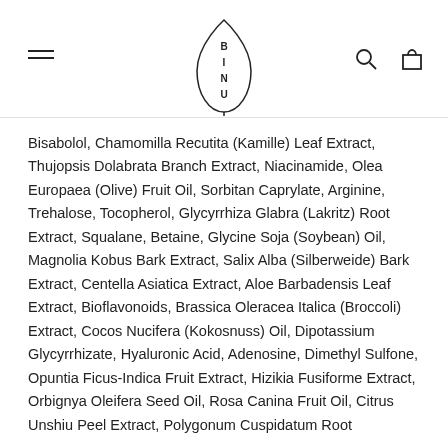[Figure (logo): BINU brand logo — a leaf shape outline with letters B, I, N, U arranged vertically inside]
Bisabolol, Chamomilla Recutita (Kamille) Leaf Extract, Thujopsis Dolabrata Branch Extract, Niacinamide, Olea Europaea (Olive) Fruit Oil, Sorbitan Caprylate, Arginine, Trehalose, Tocopherol, Glycyrrhiza Glabra (Lakritz) Root Extract, Squalane, Betaine, Glycine Soja (Soybean) Oil, Magnolia Kobus Bark Extract, Salix Alba (Silberweide) Bark Extract, Centella Asiatica Extract, Aloe Barbadensis Leaf Extract, Bioflavonoids, Brassica Oleracea Italica (Broccoli) Extract, Cocos Nucifera (Kokosnuss) Oil, Dipotassium Glycyrrhizate, Hyaluronic Acid, Adenosine, Dimethyl Sulfone, Opuntia Ficus-Indica Fruit Extract, Hizikia Fusiforme Extract, Orbignya Oleifera Seed Oil, Rosa Canina Fruit Oil, Citrus Unshiu Peel Extract, Polygonum Cuspidatum Root